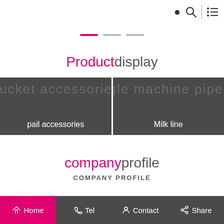Navigation icons: search and menu
[Figure (infographic): Slider/carousel dot indicators: one pink active dot and two grey inactive dots]
Productdisplay
[Figure (infographic): Two product category cards side by side on dark grey background: 'pail accessories' on the left, 'Milk line' on the right]
companyprofile
COMPANY PROFILE
Zibo lukin machinery factory mainly produces milking machine, various types milk machine, gas pulse apparatus, electronic pulse machine, automatic glass of electronic measurement, milking